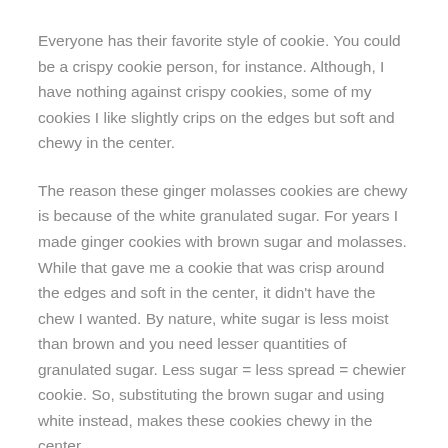Everyone has their favorite style of cookie. You could be a crispy cookie person, for instance. Although, I have nothing against crispy cookies, some of my cookies I like slightly crips on the edges but soft and chewy in the center.
The reason these ginger molasses cookies are chewy is because of the white granulated sugar. For years I made ginger cookies with brown sugar and molasses. While that gave me a cookie that was crisp around the edges and soft in the center, it didn't have the chew I wanted. By nature, white sugar is less moist than brown and you need lesser quantities of granulated sugar. Less sugar = less spread = chewier cookie. So, substituting the brown sugar and using white instead, makes these cookies chewy in the center.
What if you don't have ground ginger at hand? Can you use fresh ginger instead ground ginger in